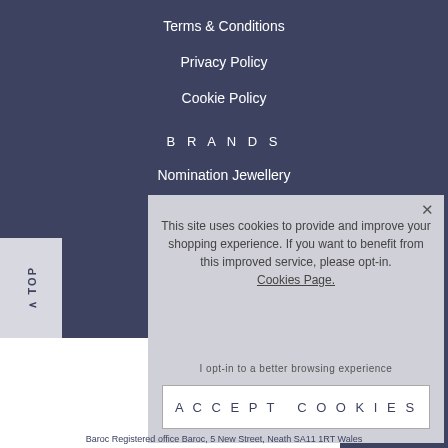Terms & Conditions
Privacy Policy
Cookie Policy
BRANDS
Nomination Jewellery
Joma Jewellery
[Figure (screenshot): Cookie consent popup overlay with message about cookies, opt-in link, and Accept Cookies button]
This site uses cookies to provide and improve your shopping experience. If you want to benefit from this improved service, please opt-in. Cookies Page.
I opt-in to a better browsing experience
ACCEPT COOKIES
Baroc Registered office Baroc, 5 New Street, Neath SA11 1RT Wales